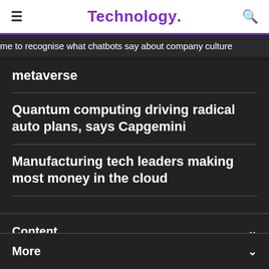Technology.
me to recognise what chatbots say about company culture
metaverse
Quantum computing driving radical auto plans, says Capgemini
Manufacturing tech leaders making most money in the cloud
Content
More